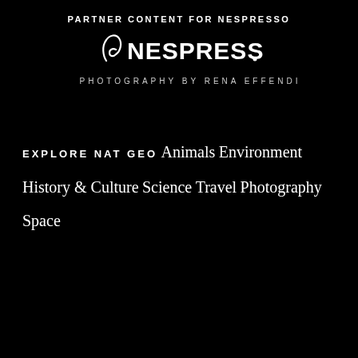PARTNER CONTENT FOR NESPRESSO
[Figure (logo): Nespresso logo with stylized N and wordmark NESPRESSO.]
PHOTOGRAPHY BY RENA EFFENDI
EXPLORE NAT GEO
Animals
Environment
History & Culture
Science
Travel
Photography
Space